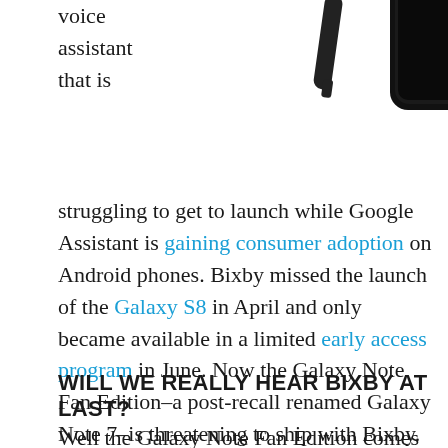[Figure (photo): Samsung Galaxy Note smartphone shown from behind with stylus pen, black device on white background]
voice assistant that is struggling to get to launch while Google Assistant is gaining consumer adoption on Android phones. Bixby missed the launch of the Galaxy S8 in April and only became available in a limited early access program in June. Now the Galaxy Note Fan Edition–a post-recall renamed Galaxy Note 7–is threatening to ship with Bixby. It may have Bixby on board but seems unlikely that it will have voice assistant capabilities given the recent limited access program.
WILL WE REALLY HEAR BIXBY AT LAST?
Well the Galaxy Note Fan Edition comes with Bixby but if it...